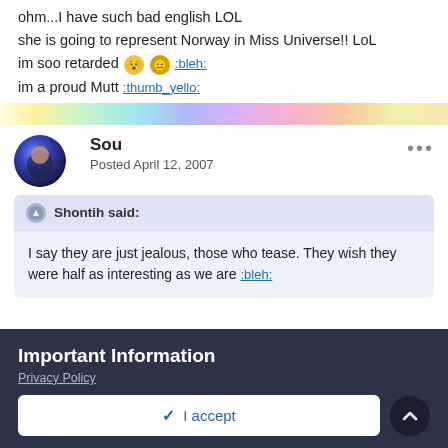ohm...I have such bad english LOL
she is going to represent Norway in Miss Universe!! LoL
im soo retarded [emoji] [emoji] [:bleh:]
im a proud Mutt [:thumb_yello:]
[Figure (other): Rainbow gradient horizontal divider bar]
Sou
Posted April 12, 2007
Shontih said:
I say they are just jealous, those who tease. They wish they were half as interesting as we are [:bleh:]
Important Information
Privacy Policy
✓ I accept